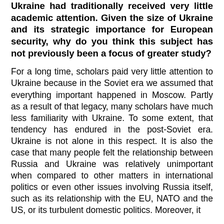Ukraine had traditionally received very little academic attention. Given the size of Ukraine and its strategic importance for European security, why do you think this subject has not previously been a focus of greater study?
For a long time, scholars paid very little attention to Ukraine because in the Soviet era we assumed that everything important happened in Moscow. Partly as a result of that legacy, many scholars have much less familiarity with Ukraine. To some extent, that tendency has endured in the post-Soviet era. Ukraine is not alone in this respect. It is also the case that many people felt the relationship between Russia and Ukraine was relatively unimportant when compared to other matters in international politics or even other issues involving Russia itself, such as its relationship with the EU, NATO and the US, or its turbulent domestic politics. Moreover, it